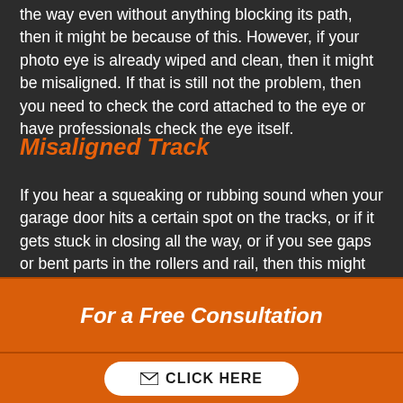the way even without anything blocking its path, then it might be because of this. However, if your photo eye is already wiped and clean, then it might be misaligned. If that is still not the problem, then you need to check the cord attached to the eye or have professionals check the eye itself.
Misaligned Track
If you hear a squeaking or rubbing sound when your garage door hits a certain spot on the tracks, or if it gets stuck in closing all the way, or if you see gaps or bent parts in the rollers and rail, then this might be
For a Free Consultation
CLICK HERE